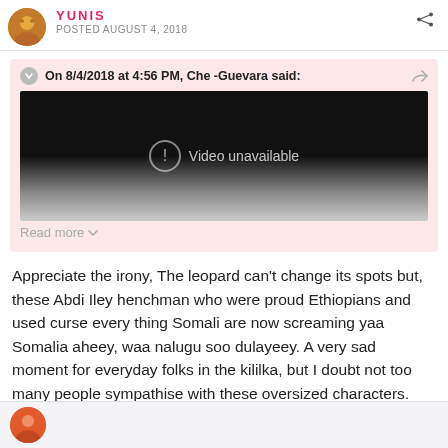YUNIS
POSTED AUGUST 4, 2018
On 8/4/2018 at 4:56 PM, Che -Guevara said:
[Figure (screenshot): Video unavailable embed placeholder — black to grey gradient background with a circle exclamation icon and text 'Video unavailable']
Read more
Appreciate the irony, The leopard can't change its spots but, these Abdi Iley henchman who were proud Ethiopians and used curse every thing Somali are now screaming yaa Somalia aheey, waa nalugu soo dulayeey. A very sad moment for everyday folks in the kililka, but I doubt not too many people sympathise with these oversized characters.
+ Quote
1